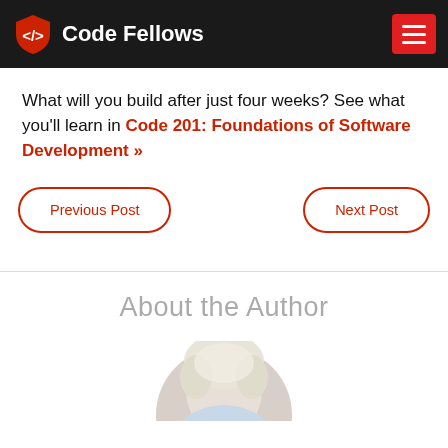Code Fellows
What will you build after just four weeks? See what you'll learn in Code 201: Foundations of Software Development »
Previous Post
Next Post
About the Author
[Figure (photo): Circular cropped photo of a person with light/blonde hair, partially visible at bottom of page]